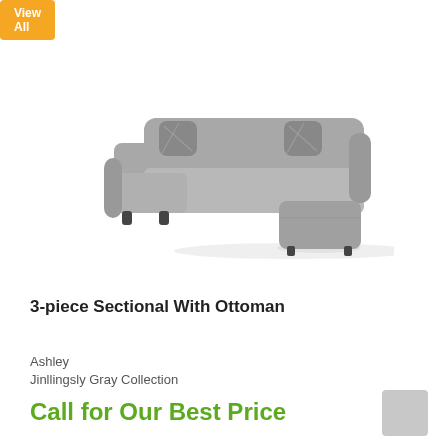View All
[Figure (photo): Gray 3-piece sectional sofa with ottoman, rolled arms, decorative patterned throw pillows, and dark legs on a white background]
3-piece Sectional With Ottoman
Ashley
Jinllingsly Gray Collection
Call for Our Best Price